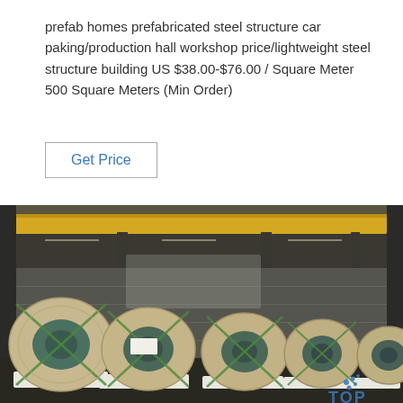prefab homes prefabricated steel structure car paking/production hall workshop price/lightweight steel structure building US $38.00-$76.00 / Square Meter 500 Square Meters (Min Order)
Get Price
[Figure (photo): Interior of a large steel structure warehouse/production hall. In the foreground, five large rolls of wrapped material (likely steel coils) sit on white pallets on a dark floor. The coils are wrapped in beige/brown paper with green cross strapping. The industrial building has steel columns and overhead cranes visible in the background. A blue watermark 'TOP' with a rocket icon appears in the lower right corner.]